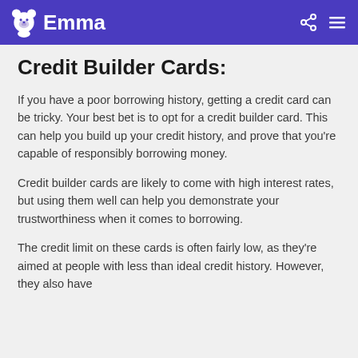Emma
Credit Builder Cards:
If you have a poor borrowing history, getting a credit card can be tricky. Your best bet is to opt for a credit builder card. This can help you build up your credit history, and prove that you’re capable of responsibly borrowing money.
Credit builder cards are likely to come with high interest rates, but using them well can help you demonstrate your trustworthiness when it comes to borrowing.
The credit limit on these cards is often fairly low, as they’re aimed at people with less than ideal credit history. However, they also have